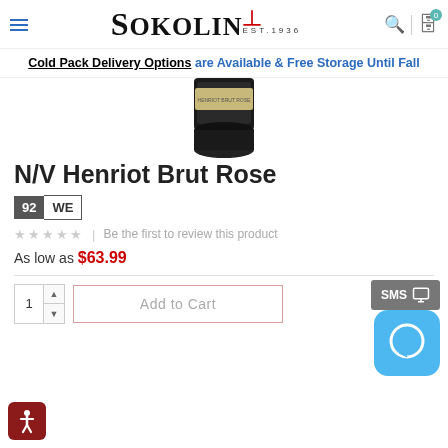Sokolin Est. 1936
Cold Pack Delivery Options are Available & Free Storage Until Fall
[Figure (photo): Bottom portion of a wine bottle (Henriot Brut Rose) showing the black capsule top and gold label, centered on white background]
N/V Henriot Brut Rose
92 WE
★★★★★  |  Be the first to review this product
As low as $63.99
Add to Cart